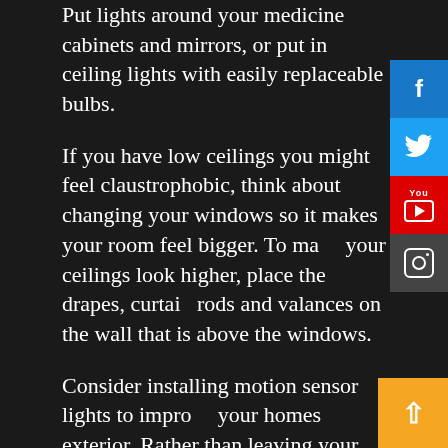Put lights around your medicine cabinets and mirrors, or put in ceiling lights with easily replaceable bulbs.
If you have low ceilings you might feel claustrophobic, think about changing your windows so it makes your room feel bigger. To make your ceilings look higher, place the drapes, curtain rods and valances on the wall that is above the windows.
Consider installing motion sensor lights to improve your homes exterior. Rather than leaving your lights on throughout the entire night, motion detecting lights will only light up when there is nearby movement. If someone is on your property who doesn't belong there, chances are they will assume the lights came on because they're being